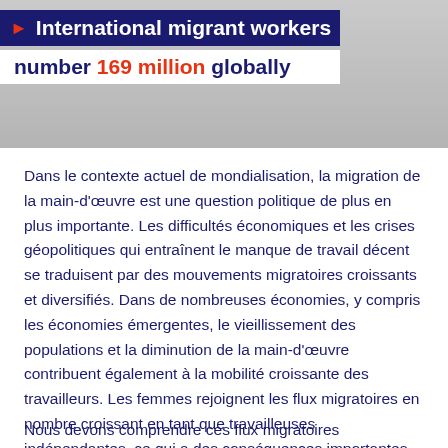[Figure (photo): Banner image showing migrant workers, with overlay text: 'International migrant workers number 169 million globally']
Dans le contexte actuel de mondialisation, la migration de la main-d'œuvre est une question politique de plus en plus importante. Les difficultés économiques et les crises géopolitiques qui entraînent le manque de travail décent se traduisent par des mouvements migratoires croissants et diversifiés. Dans de nombreuses économies, y compris les économies émergentes, le vieillissement des populations et la diminution de la main-d'œuvre contribuent également à la mobilité croissante des travailleurs. Les femmes rejoignent les flux migratoires en nombre croisant en tant que travailleuses indépendantes, ce qui a des conséquences importantes pour l'égalité des sexes dans les pays d'origine et de destination.
Nous devons comprendre ces flux migratoires dynamiques et